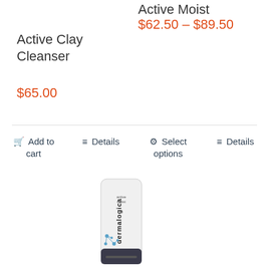Active Clay Cleanser
$65.00
Active Moist
$62.50 – $89.50
Add to cart
Details
Select options
Details
[Figure (photo): Dermalogica Active Moist tube product, white tube with dark cap and blue molecular graphic]
[Figure (photo): Dermalogica product tube, white tube partially visible]